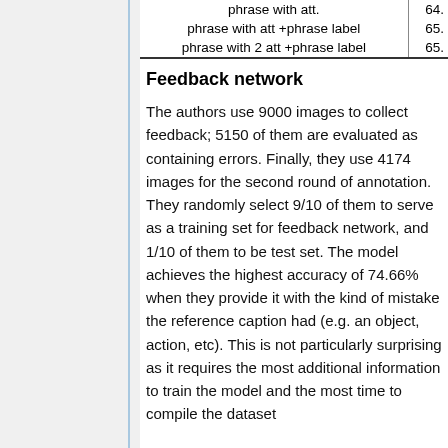|  |  |
| --- | --- |
| phrase with att. | 64. |
| phrase with att +phrase label | 65. |
| phrase with 2 att +phrase label | 65. |
Feedback network
The authors use 9000 images to collect feedback; 5150 of them are evaluated as containing errors. Finally, they use 4174 images for the second round of annotation. They randomly select 9/10 of them to serve as a training set for feedback network, and 1/10 of them to be test set. The model achieves the highest accuracy of 74.66% when they provide it with the kind of mistake the reference caption had (e.g. an object, action, etc). This is not particularly surprising as it requires the most additional information to train the model and the most time to compile the dataset